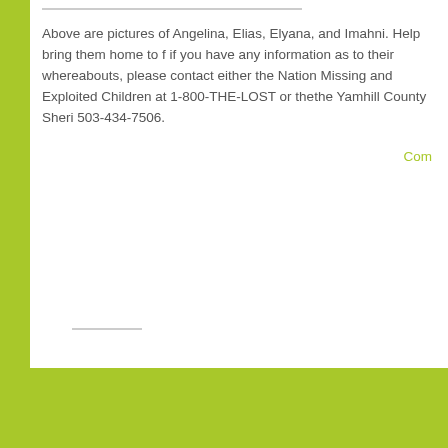Above are pictures of Angelina, Elias, Elyana, and Imahni. Help bring them home to f if you have any information as to their whereabouts, please contact either the Nation Missing and Exploited Children at 1-800-THE-LOST or thethe Yamhill County Sheri 503-434-7506.
Com